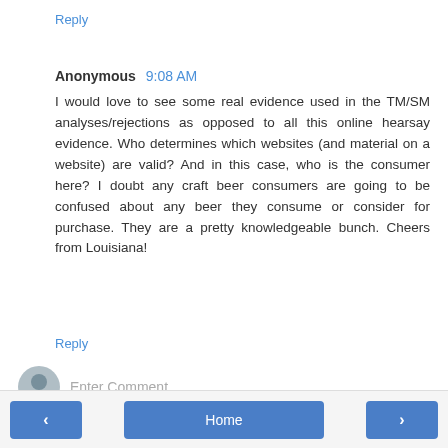Reply
Anonymous 9:08 AM
I would love to see some real evidence used in the TM/SM analyses/rejections as opposed to all this online hearsay evidence. Who determines which websites (and material on a website) are valid? And in this case, who is the consumer here? I doubt any craft beer consumers are going to be confused about any beer they consume or consider for purchase. They are a pretty knowledgeable bunch. Cheers from Louisiana!
Reply
Enter Comment
< Home >